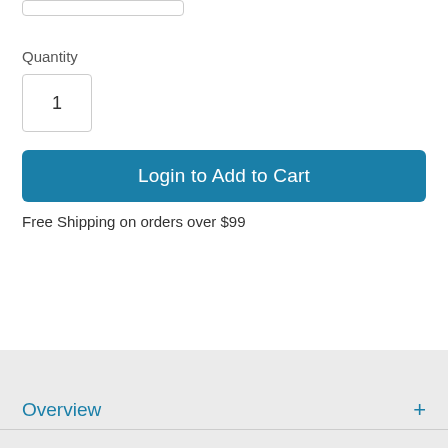[Figure (screenshot): Partial input box at the top of the page, partially cropped]
Quantity
[Figure (screenshot): Quantity input box showing value 1]
Login to Add to Cart
Free Shipping on orders over $99
Overview